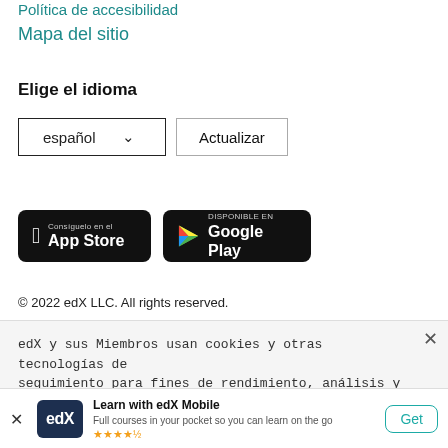Política de accesibilidad
Mapa del sitio
Elige el idioma
español  ∨   Actualizar
[Figure (screenshot): App Store download button (black, rounded): Consíguelo en el App Store with Apple logo]
[Figure (screenshot): Google Play download button (black, rounded): Disponible en Google Play with Play Store triangle logo]
© 2022 edX LLC. All rights reserved.
edX y sus Miembros usan cookies y otras tecnologías de seguimiento para fines de rendimiento, análisis y marketing.
[Figure (logo): edX logo on dark blue background]
Learn with edX Mobile
Full courses in your pocket so you can learn on the go
★★★★½
Get